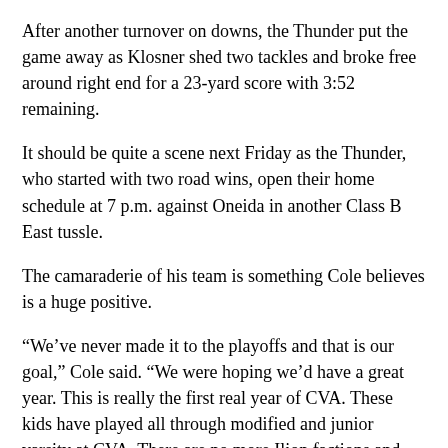After another turnover on downs, the Thunder put the game away as Klosner shed two tackles and broke free around right end for a 23-yard score with 3:52 remaining.
It should be quite a scene next Friday as the Thunder, who started with two road wins, open their home schedule at 7 p.m. against Oneida in another Class B East tussle.
The camaraderie of his team is something Cole believes is a huge positive.
“We’ve never made it to the playoffs and that is our goal,” Cole said. “We were hoping we’d have a great year. This is really the first real year of CVA. These kids have played all through modified and junior varsity at CVA. There are no more Ilion factions and Mohawk factions. We are now CVA, and the kids really have bought into being a Thunder.”
It doesn’t get any easier for the Jugglers, who play at Cazenovia at 1:30 p.m. next Saturday in a showdown of defending Section 3 champions. The Jugglers won consecutive Class C titles